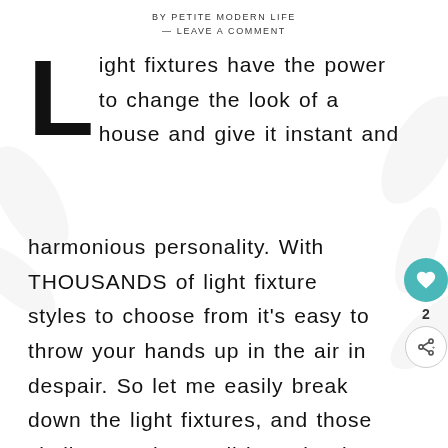BY PETITE MODERN LIFE
— LEAVE A COMMENT
Light fixtures have the power to change the look of a house and give it instant and harmonious personality. With THOUSANDS of light fixture styles to choose from it's easy to throw your hands up in the air in despair. So let me easily break down the light fixtures, and those similar to, what we'll be using in our house! We'll start with our European farmhouse